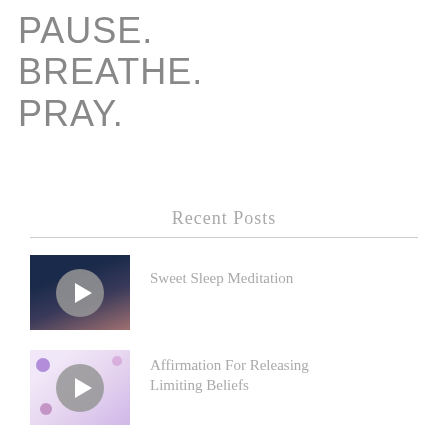PAUSE. BREATHE. PRAY.
Recent Posts
[Figure (photo): Thumbnail video preview of a person sleeping, with a grey play button overlay]
Sweet Sleep Meditation
[Figure (photo): Thumbnail video preview with colorful peace and spiritual symbols on a light purple background, with a grey play button overlay]
Affirmation For Releasing Limiting Beliefs
[Figure (photo): Thumbnail video preview with colorful planets and space imagery on a dark background, with a grey play button overlay]
Take A Mindful Minute + Breathe With Me